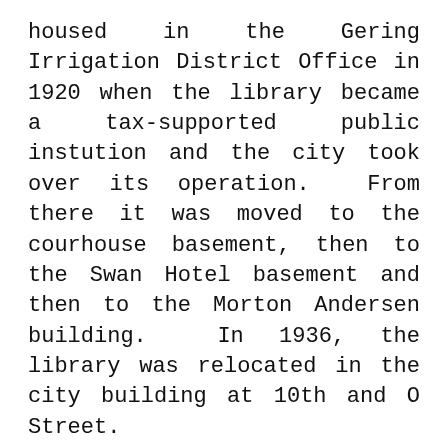housed in the Gering Irrigation District Office in 1920 when the library became a tax-supported public instution and the city took over its operation.  From there it was moved to the courhouse basement, then to the Swan Hotel basement and then to the Morton Andersen building.  In 1936, the library was relocated in the city building at 10th and O Street.
In 1962, a new library building was built in its present location, the corner of 11th and P Street.  There is a mosaic mural on the outside west wall, showing a covered wagon on the old Oregon Trail. The total cost for the building and equipment was approximately $82,000.  At the time the building was completed, there were